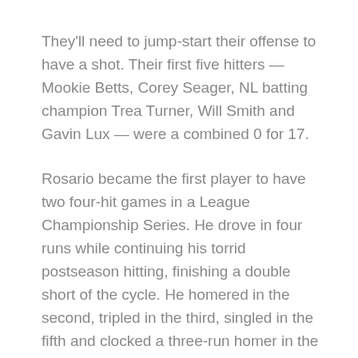They'll need to jump-start their offense to have a shot. Their first five hitters — Mookie Betts, Corey Seager, NL batting champion Trea Turner, Will Smith and Gavin Lux — were a combined 0 for 17.
Rosario became the first player to have two four-hit games in a League Championship Series. He drove in four runs while continuing his torrid postseason hitting, finishing a double short of the cycle. He homered in the second, tripled in the third, singled in the fifth and clocked a three-run homer in the ninth.
The left fielder has hit in every game of this postseason, collecting 14 hits so far. He has struck out